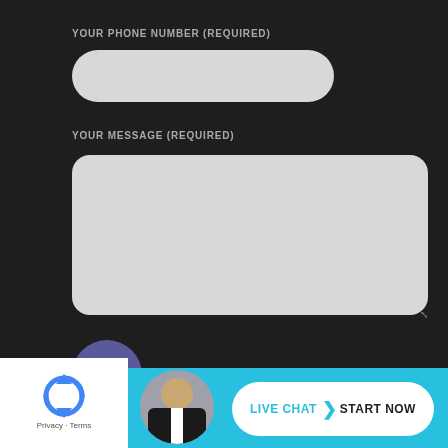YOUR PHONE NUMBER (REQUIRED)
[Figure (screenshot): Empty rounded text input field for phone number]
YOUR MESSAGE (REQUIRED)
[Figure (screenshot): Empty rounded textarea for message input]
[Figure (other): Round blue-purple SEND button]
[Figure (other): reCAPTCHA widget with Privacy and Terms text, person avatar, and Live Chat Start Now button bar at bottom]